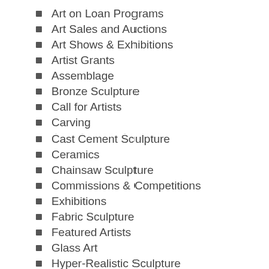Art on Loan Programs
Art Sales and Auctions
Art Shows & Exhibitions
Artist Grants
Assemblage
Bronze Sculpture
Call for Artists
Carving
Cast Cement Sculpture
Ceramics
Chainsaw Sculpture
Commissions & Competitions
Exhibitions
Fabric Sculpture
Featured Artists
Glass Art
Hyper-Realistic Sculpture